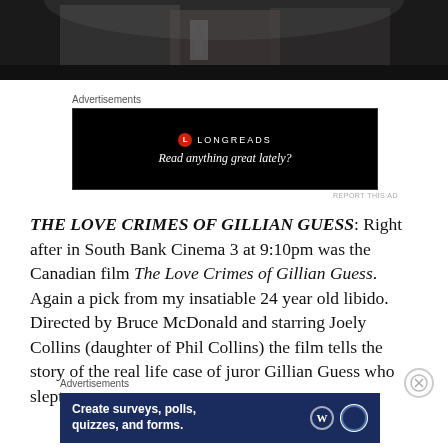[Figure (photo): Film still showing people in formal attire, partially cropped at top of page]
Advertisements
[Figure (other): Longreads advertisement on black background: logo with red circle L, text 'LONGREADS', tagline 'Read anything great lately?']
THE LOVE CRIMES OF GILLIAN GUESS: Right after in South Bank Cinema 3 at 9:10pm was the Canadian film The Love Crimes of Gillian Guess. Again a pick from my insatiable 24 year old libido. Directed by Bruce McDonald and starring Joely Collins (daughter of Phil Collins) the film tells the story of the real life case of juror Gillian Guess who slept
Advertisements
[Figure (other): Advertisement on dark blue background: 'Create surveys, polls, quizzes, and forms.' with WordPress and Survey icons]